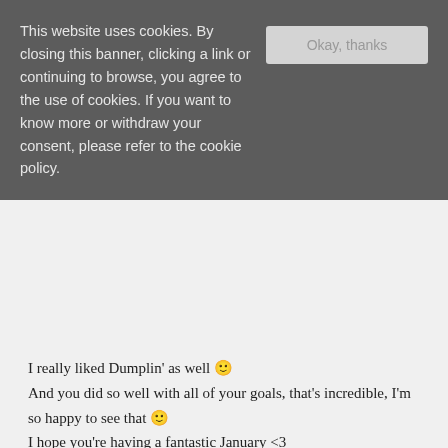This website uses cookies. By closing this banner, clicking a link or continuing to browse, you agree to the use of cookies. If you want to know more or withdraw your consent, please refer to the cookie policy.
I really liked Dumplin' as well 🙂 And you did so well with all of your goals, that's incredible, I'm so happy to see that 🙂 I hope you're having a fantastic January <3
january 9, 2019, 12:47 pm
nicole @ feed your fiction addiction
Thank you! There's always a sense of accomplishment when you get a draft done. 🙂
january 20, 2019, 7:17 pm